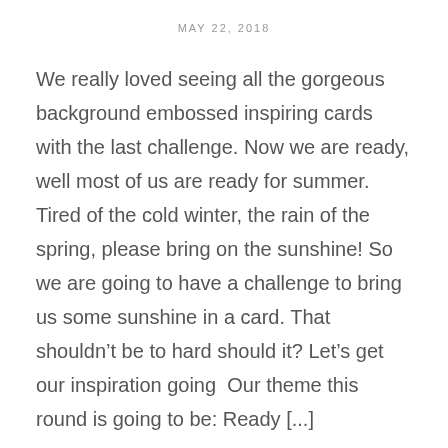MAY 22, 2018
We really loved seeing all the gorgeous background embossed inspiring cards with the last challenge. Now we are ready, well most of us are ready for summer. Tired of the cold winter, the rain of the spring, please bring on the sunshine! So we are going to have a challenge to bring us some sunshine in a card. That shouldn’t be to hard should it? Let’s get our inspiration going  Our theme this round is going to be: Ready [...]
Continue Reading →